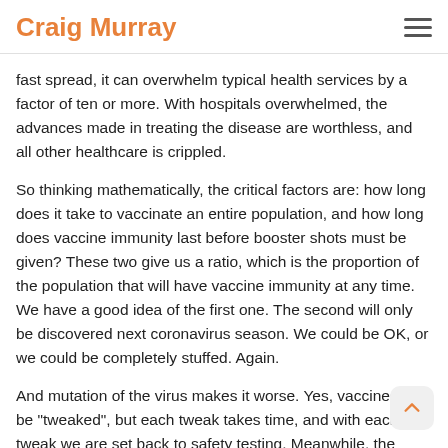Craig Murray
fast spread, it can overwhelm typical health services by a factor of ten or more. With hospitals overwhelmed, the advances made in treating the disease are worthless, and all other healthcare is crippled.
So thinking mathematically, the critical factors are: how long does it take to vaccinate an entire population, and how long does vaccine immunity last before booster shots must be given? These two give us a ratio, which is the proportion of the population that will have vaccine immunity at any time. We have a good idea of the first one. The second will only be discovered next coronavirus season. We could be OK, or we could be completely stuffed. Again.
And mutation of the virus makes it worse. Yes, vaccines can be "tweaked", but each tweak takes time, and with each tweak we are set back to safety testing. Meanwhile, the virus has no such delays and ethical constraints.